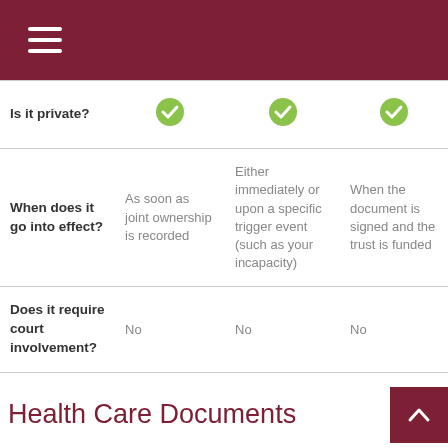Menu navigation header with hamburger icon
|  | Joint Ownership | Power of Attorney / Living Trust (implied col) | Revocable Living Trust (implied col) |
| --- | --- | --- | --- |
| Is it private? | ✓ | ✓ | ✓ |
| When does it go into effect? | As soon as joint ownership is recorded | Either immediately or upon a specific trigger event (such as your incapacity) | When the document is signed and the trust is funded |
| Does it require court involvement? | No | No | No |
Health Care Documents
Power o...